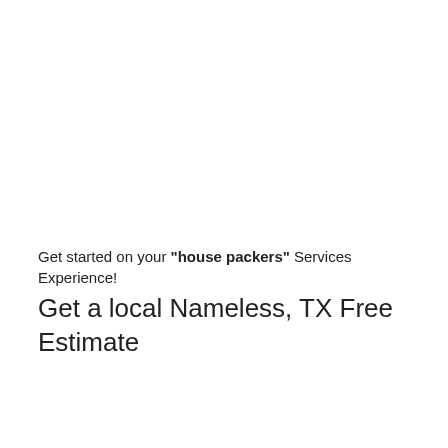Get started on your "house packers" Services Experience!
Get a local Nameless, TX Free Estimate